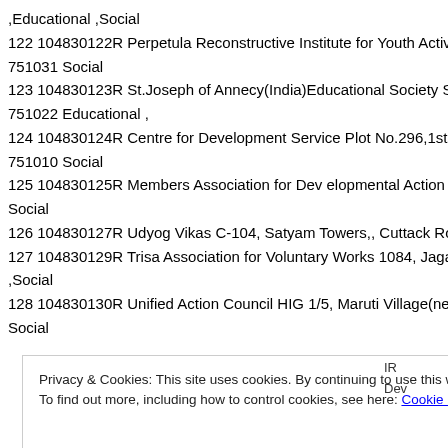,Educational ,Social
122 104830122R Perpetula Reconstructive Institute for Youth Activi
751031 Social
123 104830123R St.Joseph of Annecy(India)Educational Society St
751022 Educational ,
124 104830124R Centre for Development Service Plot No.296,1st f
751010 Social
125 104830125R Members Association for Dev elopmental Action a
Social
126 104830127R Udyog Vikas C-104, Satyam Towers,, Cuttack Roa
127 104830129R Trisa Association for Voluntary Works 1084, Jagan
,Social
128 104830130R Unified Action Council HIG 1/5, Maruti Village(nea
Social
Privacy & Cookies: This site uses cookies. By continuing to use this website, you agree to their use. To find out more, including how to control cookies, see here: Cookie Policy
Close and accept